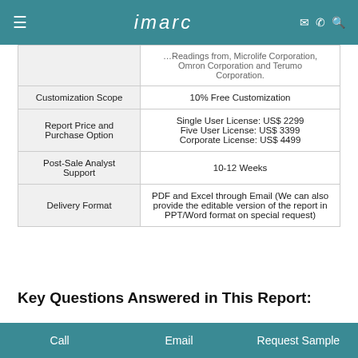imarc
|  | …Readings from, Microlife Corporation, Omron Corporation and Terumo Corporation. |
| Customization Scope | 10% Free Customization |
| Report Price and Purchase Option | Single User License: US$ 2299
Five User License: US$ 3399
Corporate License: US$ 4499 |
| Post-Sale Analyst Support | 10-12 Weeks |
| Delivery Format | PDF and Excel through Email (We can also provide the editable version of the report in PPT/Word format on special request) |
Key Questions Answered in This Report:
Call   Email   Request Sample